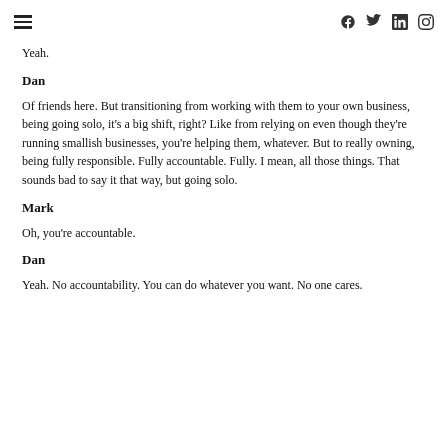≡  f  twitter  linkedin  instagram
Yeah.
Dan
Of friends here. But transitioning from working with them to your own business, being going solo, it's a big shift, right? Like from relying on even though they're running smallish businesses, you're helping them, whatever. But to really owning, being fully responsible. Fully accountable. Fully. I mean, all those things. That sounds bad to say it that way, but going solo.
Mark
Oh, you're accountable.
Dan
Yeah. No accountability. You can do whatever you want. No one cares.